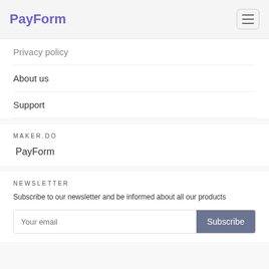PayForm
Privacy policy
About us
Support
MAKER.DO
PayForm
NEWSLETTER
Subscribe to our newsletter and be informed about all our products